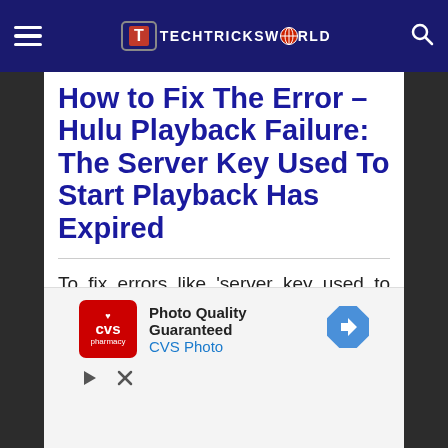TECHTRICKSWORLD
How to Fix The Error – Hulu Playback Failure: The Server Key Used To Start Playback Has Expired
To fix errors like 'server key used to start playback has expired', you need to follow these methods and see for
[Figure (other): CVS Photo advertisement banner with CVS pharmacy logo, text 'Photo Quality Guaranteed CVS Photo', and navigation arrow icon]